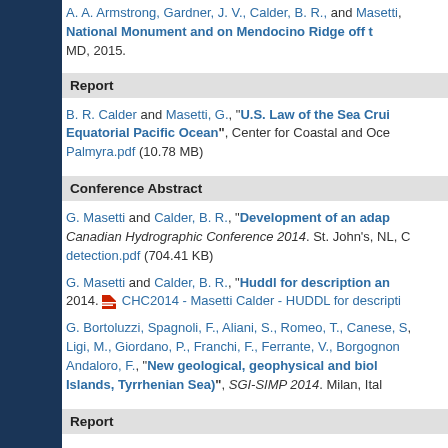A. A. Armstrong, Gardner, J. V., Calder, B. R., and Masetti... National Monument and on Mendocino Ridge off t... MD, 2015.
Report
B. R. Calder and Masetti, G., "U.S. Law of the Sea Crui... Equatorial Pacific Ocean", Center for Coastal and Oce... Palmyra.pdf (10.78 MB)
Conference Abstract
G. Masetti and Calder, B. R., "Development of an adap... Canadian Hydrographic Conference 2014. St. John's, NL, C... detection.pdf (704.41 KB)
G. Masetti and Calder, B. R., "Huddl for description an... 2014. CHC2014 - Masetti Calder - HUDDL for descripti...
G. Bortoluzzi, Spagnoli, F., Aliani, S., Romeo, T., Canese, S... Ligi, M., Giordano, P., Franchi, F., Ferrante, V., Borgognon... Andaloro, F., "New geological, geophysical and biol... Islands, Tyrrhenian Sea)", SGI-SIMP 2014. Milan, Ital...
Report